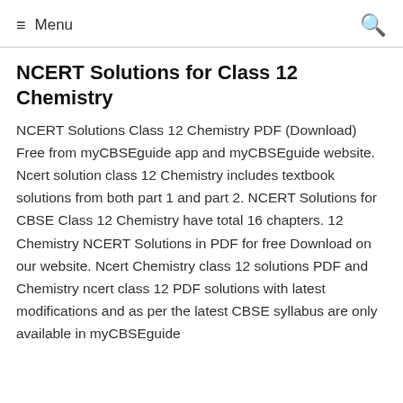≡ Menu
NCERT Solutions for Class 12 Chemistry
NCERT Solutions Class 12 Chemistry PDF (Download) Free from myCBSEguide app and myCBSEguide website. Ncert solution class 12 Chemistry includes textbook solutions from both part 1 and part 2. NCERT Solutions for CBSE Class 12 Chemistry have total 16 chapters. 12 Chemistry NCERT Solutions in PDF for free Download on our website. Ncert Chemistry class 12 solutions PDF and Chemistry ncert class 12 PDF solutions with latest modifications and as per the latest CBSE syllabus are only available in myCBSEguide